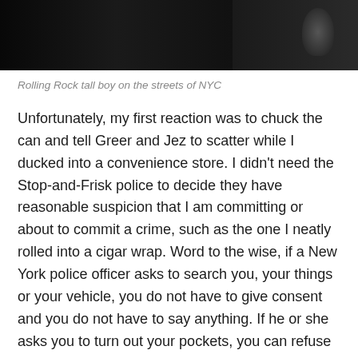[Figure (photo): Dark photograph showing people on the streets of NYC, mostly dark/silhouette tones]
Rolling Rock tall boy on the streets of NYC
Unfortunately, my first reaction was to chuck the can and tell Greer and Jez to scatter while I ducked into a convenience store. I didn't need the Stop-and-Frisk police to decide they have reasonable suspicion that I am committing or about to commit a crime, such as the one I neatly rolled into a cigar wrap. Word to the wise, if a New York police officer asks to search you, your things or your vehicle, you do not have to give consent and you do not have to say anything. If he or she asks you to turn out your pockets, you can refuse (and should if you have drugs in them) because they can really only bag you if you show them your stash. Ask if you are being arrested or if you are free to leave. For more tips on how to survive an encounter with the New York Pig Department, check out what the New York Civil Liberties Union has to say...